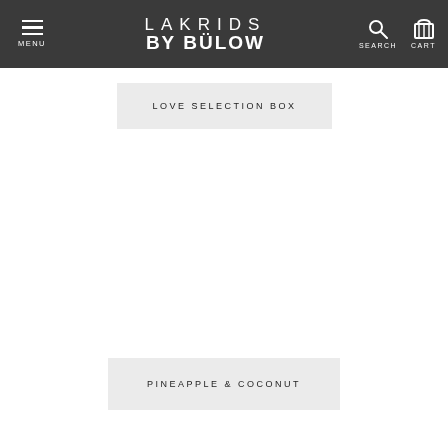MENU | LAKRIDS BY BÜLOW | SEARCH | CART
LOVE SELECTION BOX
[Figure (other): Empty white product image area for Love Selection Box product]
PINEAPPLE & COCONUT